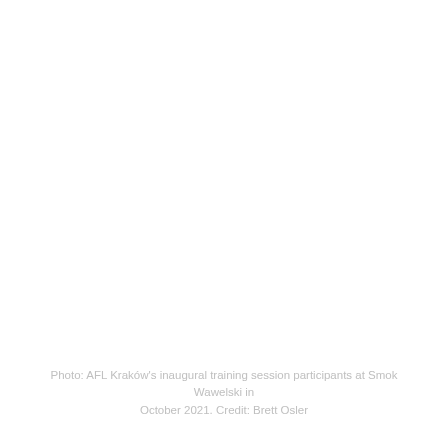[Figure (photo): A mostly white/blank photo area representing AFL Kraków's inaugural training session participants at Smok Wawelski in October 2021.]
Photo: AFL Kraków's inaugural training session participants at Smok Wawelski in October 2021.  Credit: Brett Osler